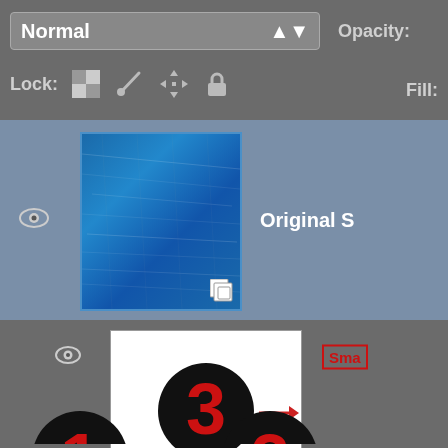[Figure (screenshot): Photoshop Layers panel showing Normal blend mode dropdown, Opacity label, Lock icons, Fill label, two layer rows with thumbnails (Original S... layer with blue texture and smart object icon, and a white thumbnail layer with number 3 callout pointing to Sma... label), and numbered callout circles 1, 2, 3.]